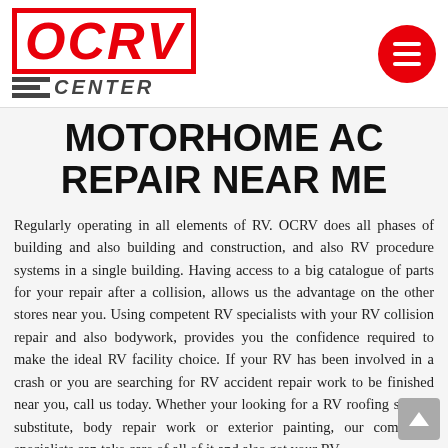OCRV CENTER
MOTORHOME AC REPAIR NEAR ME
Regularly operating in all elements of RV. OCRV does all phases of building and also building and construction, and also RV procedure systems in a single building. Having access to a big catalogue of parts for your repair after a collision, allows us the advantage on the other stores near you. Using competent RV specialists with your RV collision repair and also bodywork, provides you the confidence required to make the ideal RV facility choice. If your RV has been involved in a crash or you are searching for RV accident repair work to be finished near you, call us today. Whether your looking for a RV roofing system substitute, body repair work or exterior painting, our competent specialists can take care of all of it and also get your RV